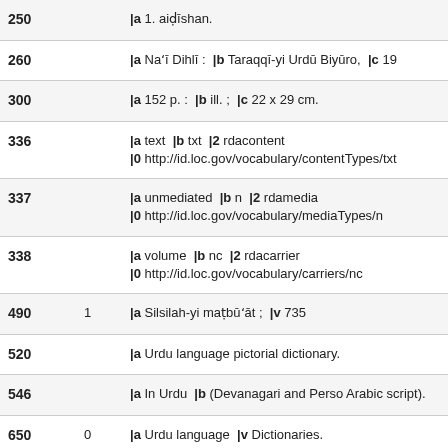| Tag | Ind | Content |
| --- | --- | --- |
| 250 |  | |a 1. aiḍīshan. |
| 260 |  | |a Naʻī Dihlī :  |b Taraqqī-yi Urdū Biyūro,  |c 19 |
| 300 |  | |a 152 p. :  |b ill. ;  |c 22 x 29 cm. |
| 336 |  | |a text  |b txt  |2 rdacontent
|0 http://id.loc.gov/vocabulary/contentTypes/txt |
| 337 |  | |a unmediated  |b n  |2 rdamedia
|0 http://id.loc.gov/vocabulary/mediaTypes/n |
| 338 |  | |a volume  |b nc  |2 rdacarrier
|0 http://id.loc.gov/vocabulary/carriers/nc |
| 490 | 1 | |a Silsilah-yi maṭbūʻāt ;  |v 735 |
| 520 |  | |a Urdu language pictorial dictionary. |
| 546 |  | |a In Urdu  |b (Devanagari and Perso Arabic script). |
| 650 | 0 | |a Urdu language  |v Dictionaries.
|0 http://id.loc.gov/authorities/subjects/sh97309 |